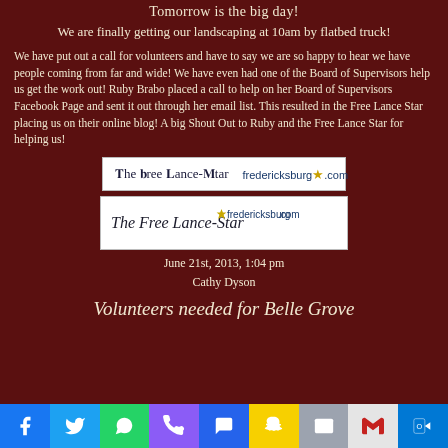Tomorrow is the big day!
We are finally getting our landscaping at 10am by flatbed truck!
We have put out a call for volunteers and have to say we are so happy to hear we have people coming from far and wide! We have even had one of the Board of Supervisors help us get the work out! Ruby Brabo placed a call to help on her Board of Supervisors Facebook Page and sent it out through her email list. This resulted in the Free Lance Star placing us on their online blog! A big Shout Out to Ruby and the Free Lance Star for helping us!
[Figure (logo): The Free Lance-Star and fredericksburg.com logo on white background]
June 21st, 2013, 1:04 pm
Cathy Dyson
Volunteers needed for Belle Grove
Facebook | Twitter | WhatsApp | Phone | SMS | Snapchat | Mail | Gmail | Outlook share buttons